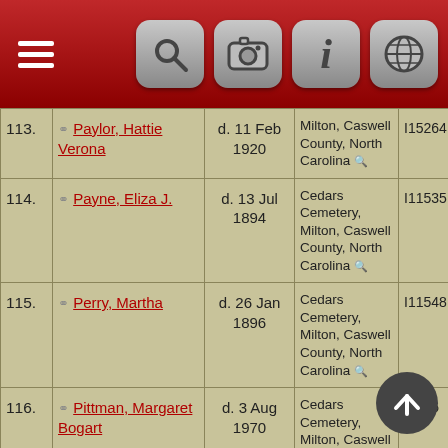| # | Name | Death Date | Burial Place | ID |
| --- | --- | --- | --- | --- |
| 113. | Paylor, Hattie Verona | d. 11 Feb 1920 | Milton, Caswell County, North Carolina | I15264 |
| 114. | Payne, Eliza J. | d. 13 Jul 1894 | Cedars Cemetery, Milton, Caswell County, North Carolina | I11535 |
| 115. | Perry, Martha | d. 26 Jan 1896 | Cedars Cemetery, Milton, Caswell County, North Carolina | I11548 |
| 116. | Pittman, Margaret Bogart | d. 3 Aug 1970 | Cedars Cemetery, Milton, Caswell County, North | I7886 |